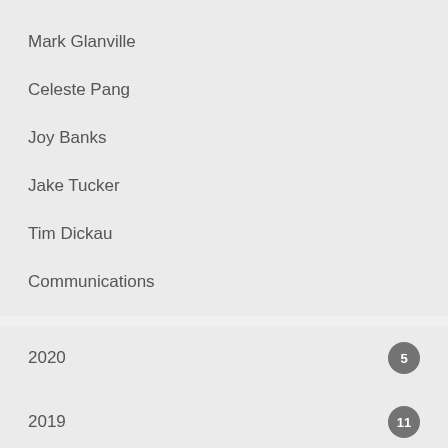Mark Glanville
Celeste Pang
Joy Banks
Jake Tucker
Tim Dickau
Communications
2020  5
2019  11
2018  13
2017  7